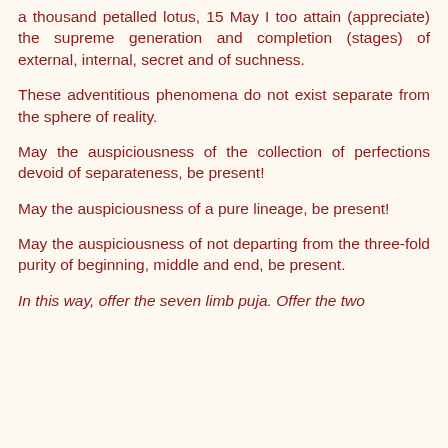a thousand petalled lotus, 15 May I too attain (appreciate) the supreme generation and completion (stages) of external, internal, secret and of suchness.
These adventitious phenomena do not exist separate from the sphere of reality.
May the auspiciousness of the collection of perfections devoid of separateness, be present!
May the auspiciousness of a pure lineage, be present!
May the auspiciousness of not departing from the three-fold purity of beginning, middle and end, be present.
In this way, offer the seven limb puja. Offer the two